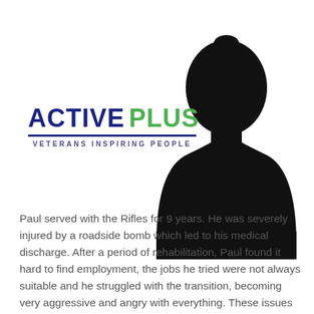[Figure (logo): Active Plus logo — 'ACTIVE' in dark navy bold, 'PLUS' in green bold, underlined, tagline 'VETERANS INSPIRING PEOPLE' in small spaced navy text]
[Figure (illustration): Black silhouette of a male person (head and shoulders) against a white background, anonymised identity]
Paul served with the Rifles for 9 years. He was severely injured by a roadside bomb which led to his medical discharge. After a period of rehabilitation, Paul found it hard to find employment, the jobs he tried were not always suitable and he struggled with the transition, becoming very aggressive and angry with everything. These issues soon...